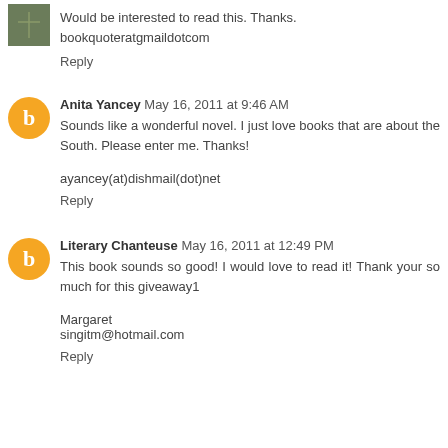Would be interested to read this. Thanks. bookquoteratgmaildotcom
Reply
Anita Yancey May 16, 2011 at 9:46 AM
Sounds like a wonderful novel. I just love books that are about the South. Please enter me. Thanks!
ayancey(at)dishmail(dot)net
Reply
Literary Chanteuse May 16, 2011 at 12:49 PM
This book sounds so good! I would love to read it! Thank your so much for this giveaway1
Margaret
singitm@hotmail.com
Reply